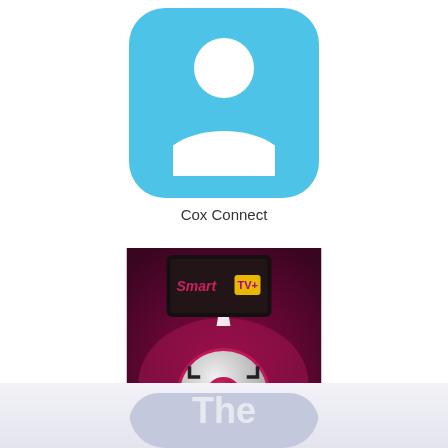[Figure (illustration): Cox Connect app icon: light blue rounded square with white silhouette of a person]
Cox Connect
[Figure (illustration): LG TV Remote app icon: dark magenta background with a silver circular remote control and a Smart TV logo on a TV screen in the background]
LG TV Remote
[Figure (illustration): Partial app icon at bottom of page, light blue/lavender with partial text 'The' visible]